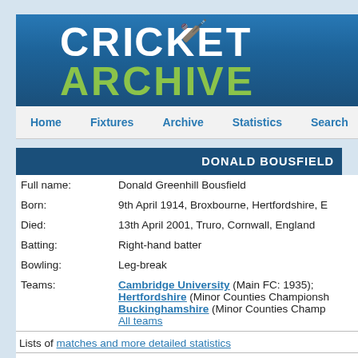[Figure (logo): Cricket Archive logo with 'CRICKET' in white and 'ARCHIVE' in green on blue background]
Home  Fixtures  Archive  Statistics  Search  On Th
DONALD BOUSFIELD
| Full name: | Donald Greenhill Bousfield |
| Born: | 9th April 1914, Broxbourne, Hertfordshire, E |
| Died: | 13th April 2001, Truro, Cornwall, England |
| Batting: | Right-hand batter |
| Bowling: | Leg-break |
| Teams: | Cambridge University (Main FC: 1935); Hertfordshire (Minor Counties Championship Buckinghamshire (Minor Counties Champ All teams |
Lists of matches and more detailed statistics
First-Class Career Batting and Fielding (1935)